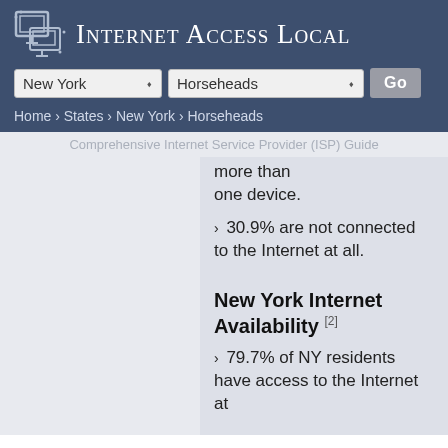Internet Access Local
New York | Horseheads | Go
Home › States › New York › Horseheads
Comprehensive Internet Service Provider (ISP) Guide
more than one device.
› 30.9% are not connected to the Internet at all.
New York Internet Availability [2]
› 79.7% of NY residents have access to the Internet at